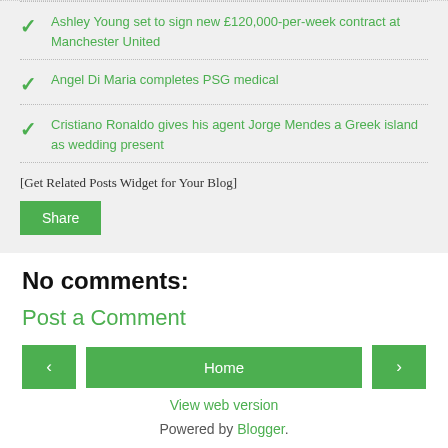Ashley Young set to sign new £120,000-per-week contract at Manchester United
Angel Di Maria completes PSG medical
Cristiano Ronaldo gives his agent Jorge Mendes a Greek island as wedding present
[Get Related Posts Widget for Your Blog]
Share
No comments:
Post a Comment
< Home >
View web version
Powered by Blogger.